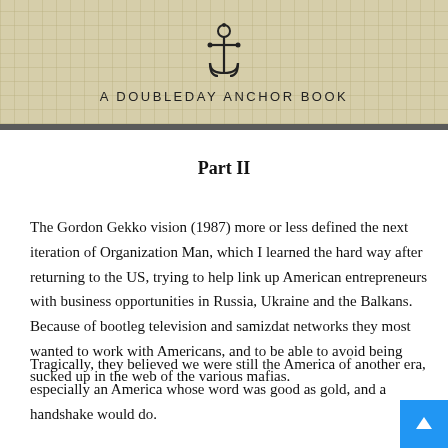A DOUBLEDAY ANCHOR BOOK
Part II
The Gordon Gekko vision (1987) more or less defined the next iteration of Organization Man, which I learned the hard way after returning to the US, trying to help link up American entrepreneurs with business opportunities in Russia, Ukraine and the Balkans. Because of bootleg television and samizdat networks they most wanted to work with Americans, and to be able to avoid being sucked up in the web of the various mafias.
Tragically, they believed we were still the America of another era, especially an America whose word was good as gold, and a handshake would do.